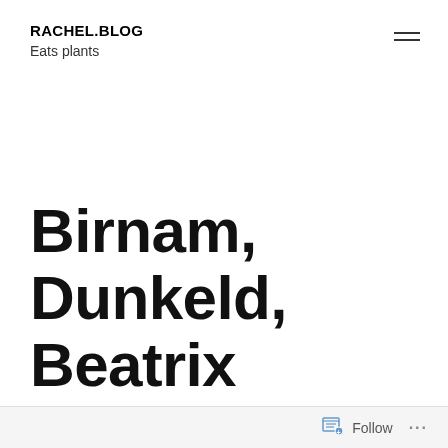RACHEL.BLOG
Eats plants
Birnam, Dunkeld, Beatrix Potter, and a bookshop
Follow ...